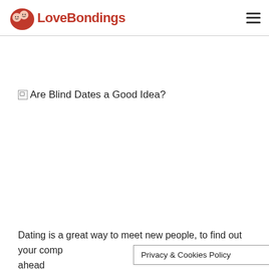LoveBondings
[Figure (illustration): Broken image placeholder with alt text 'Are Blind Dates a Good Idea?']
Dating is a great way to meet new people, to find out your comp before you go ahead and
Privacy & Cookies Policy